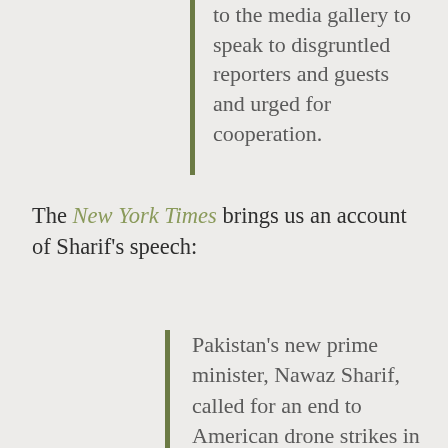to the media gallery to speak to disgruntled reporters and guests and urged for cooperation.
The New York Times brings us an account of Sharif's speech:
Pakistan's new prime minister, Nawaz Sharif, called for an end to American drone strikes in Pakistan's tribal belt on Wednesday, shortly after he won a parliamentary vote to lead the country for an unparalleled third time.
“The chapter of daily drone attacks should stop,” Mr. Sharif told the packed lower house of Parliament,